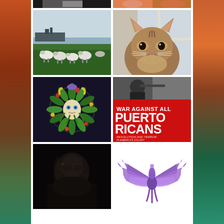[Figure (photo): Collage/grid of photos on a white center panel with nature background side panels. Top row shows partial cropped photos. Second row: sheep grazing in green field with ships in background (left), close-up of a tabby/Bengal cat face (right). Third row: dark navy t-shirt with colorful Green Man/Celtic floral embroidery design (left), book cover 'War Against All Puerto Ricans: Revolution and Terror in America's Colony' by Nelson A. Denis with red background (right). Bottom row: dark portrait photo (left), purple/lavender phoenix or winged logo (right).]